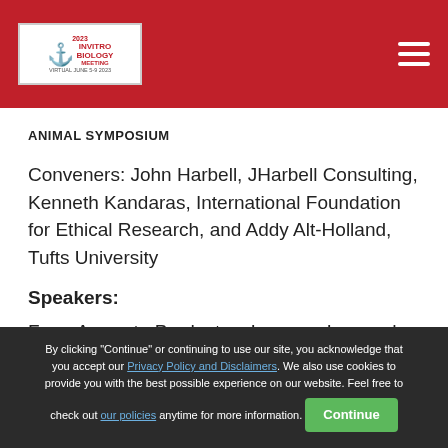IN VITRO BIOLOGY MEETING [logo/header bar]
ANIMAL SYMPOSIUM
Conveners: John Harbell, JHarbell Consulting, Kenneth Kandaras, International Foundation for Ethical Research, and Addy Alt-Holland, Tufts University
Speakers:
From Assay to Products – Lessons Learned
Thomas Hartung, Center for Alternatives to
By clicking "Continue" or continuing to use our site, you acknowledge that you accept our Privacy Policy and Disclaimers. We also use cookies to provide you with the best possible experience on our website. Feel free to check out our policies anytime for more information.